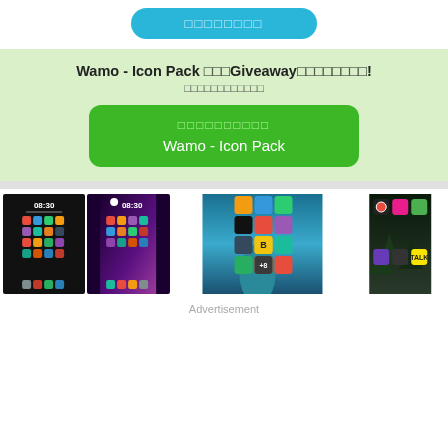[Figure (screenshot): Blue rounded button with Japanese/unicode text on white background]
Wamo - Icon Pack 　　Giveaway　　　　！
[Figure (screenshot): Green rounded rectangle button with Japanese text and 'Wamo - Icon Pack' label]
[Figure (screenshot): Four smartphone screenshots showing Wamo Icon Pack applied to Android home screens with colorful app icons]
Advertisement